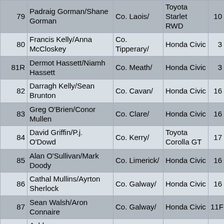| # | Driver/Co-driver | County | Car | Cls |
| --- | --- | --- | --- | --- |
| 79 | Padraig Gorman/Shane Gorman | Co. Laois/ | Toyota Starlet RWD | 10 |
| 80 | Francis Kelly/Anna McCloskey | Co. Tipperary/ | Honda Civic | 3 |
| 81R | Dermot Hassett/Niamh Hassett | Co. Meath/ | Honda Civic | 3 |
| 82 | Darragh Kelly/Sean Brunton | Co. Cavan/ | Honda Civic | 16 |
| 83 | Greg O'Brien/Conor Mullen | Co. Clare/ | Honda Civic | 16 |
| 84 | David Griffin/P.j. O'Dowd | Co. Kerry/ | Toyota Corolla GT | 17 |
| 85 | Alan O'Sullivan/Mark Doody | Co. Limerick/ | Honda Civic | 16 |
| 86 | Cathal Mullins/Ayrton Sherlock | Co. Galway/ | Honda Civic | 16 |
| 87 | Sean Walsh/Aron Connaire | Co. Galway/ | Honda Civic | 11F |
| 88 | Ashley McSweeney/Jason Kenneally | Co. Cork/ | Opel Corsa | 10 |
| 89 | Gerard O'Shea/Mary O'Shea | Co. Limerick/ | Peugeot 306 | 3 |
| 90 | Cyril Casey/Donagh | Co. Cork/ | Vauxhall Astra |  |